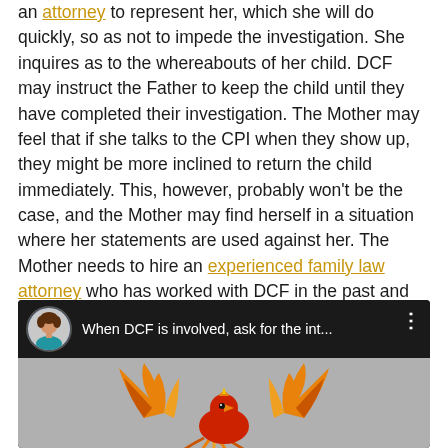an attorney to represent her, which she will do quickly, so as not to impede the investigation. She inquires as to the whereabouts of her child. DCF may instruct the Father to keep the child until they have completed their investigation. The Mother may feel that if she talks to the CPI when they show up, they might be more inclined to return the child immediately. This, however, probably won't be the case, and the Mother may find herself in a situation where her statements are used against her. The Mother needs to hire an experienced family law attorney who has worked with DCF in the past and who is comfortable litigating dependency cases involving abuse and neglect.
[Figure (screenshot): YouTube video thumbnail showing a woman's avatar and title 'When DCF is involved, ask for the int...' with a phoenix bird logo on grey background]